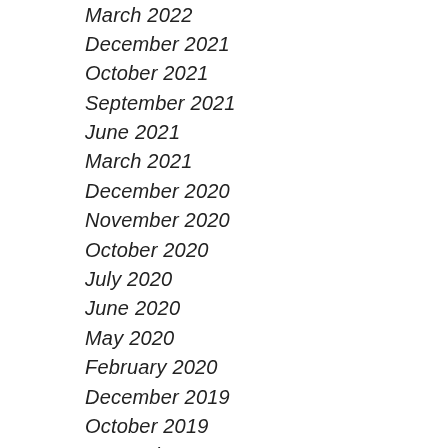March 2022
December 2021
October 2021
September 2021
June 2021
March 2021
December 2020
November 2020
October 2020
July 2020
June 2020
May 2020
February 2020
December 2019
October 2019
September 2019
August 2019
July 2019
June 2019